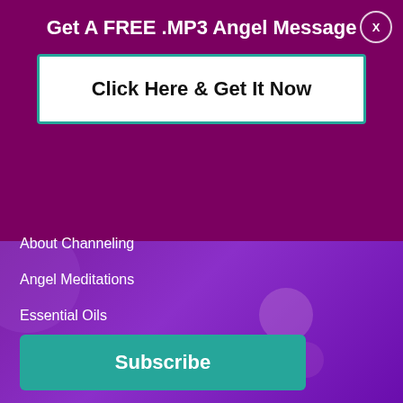Get A FREE .MP3 Angel Message
Click Here & Get It Now
About Channeling
Angel Meditations
Essential Oils
Subscribe
Follow Ask Angels
[Figure (infographic): Row of five social media icon circles: Facebook (blue), YouTube (red), Pinterest (red), Instagram (gradient), Twitter (light blue)]